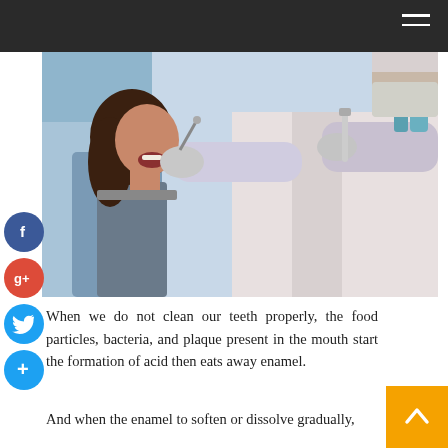[Figure (photo): A woman patient sitting in a dental chair with her mouth open while a dentist in white coat and gloves examines her teeth with dental tools.]
When we do not clean our teeth properly, the food particles, bacteria, and plaque present in the mouth start the formation of acid then eats away enamel.
And when the enamel to soften or dissolve gradually,